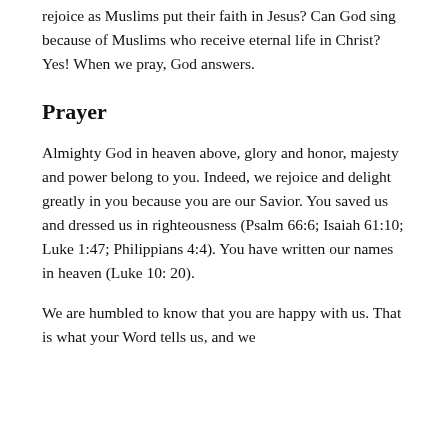rejoice as Muslims put their faith in Jesus? Can God sing because of Muslims who receive eternal life in Christ? Yes! When we pray, God answers.
Prayer
Almighty God in heaven above, glory and honor, majesty and power belong to you. Indeed, we rejoice and delight greatly in you because you are our Savior. You saved us and dressed us in righteousness (Psalm 66:6; Isaiah 61:10; Luke 1:47; Philippians 4:4). You have written our names in heaven (Luke 10: 20).
We are humbled to know that you are happy with us. That is what your Word tells us, and we